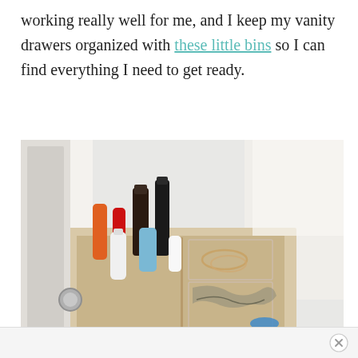working really well for me, and I keep my vanity drawers organized with these little bins so I can find everything I need to get ready.
[Figure (photo): Photograph of an open vanity drawer filled with organized beauty and cosmetic products including nail polishes, lotions, and hair accessories in small clear divider bins.]